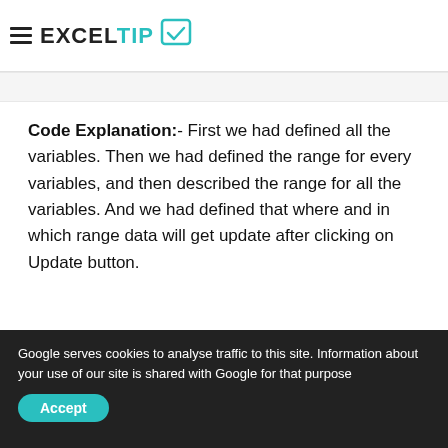EXCELTIP
Code Explanation:- First we had defined all the variables. Then we had defined the range for every variables, and then described the range for all the variables. And we had defined that where and in which range data will get update after clicking on Update button.
[Figure (screenshot): Screenshot of Microsoft Visual Basic for Applications window showing title bar with 'Microsoft Visual Basic for Applications - How to Update data One sheet to Another Sheet.xlsm - [Sheet] (Code)' and menu bar with File, Edit, View, Insert, Format, Debug, Run, Tools, Add-Ins, Window, Help]
Google serves cookies to analyse traffic to this site. Information about your use of our site is shared with Google for that purpose